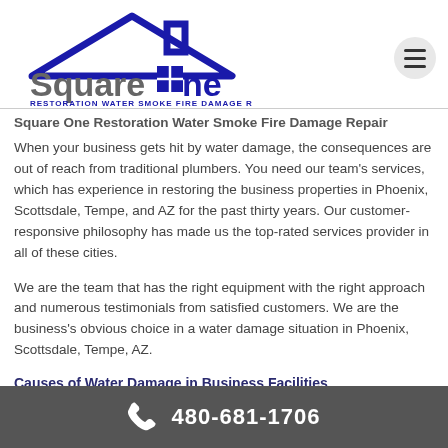[Figure (logo): Square One Restoration Water Smoke Fire Damage Repair logo with blue house roofline graphic and gray/blue text]
Square One Restoration Water Smoke Fire Damage Repair
When your business gets hit by water damage, the consequences are out of reach from traditional plumbers. You need our team's services, which has experience in restoring the business properties in Phoenix, Scottsdale, Tempe, and AZ for the past thirty years. Our customer-responsive philosophy has made us the top-rated services provider in all of these cities.
We are the team that has the right equipment with the right approach and numerous testimonials from satisfied customers. We are the business's obvious choice in a water damage situation in Phoenix, Scottsdale, Tempe, AZ.
Causes of Water Damage in Business Facilities
480-681-1706